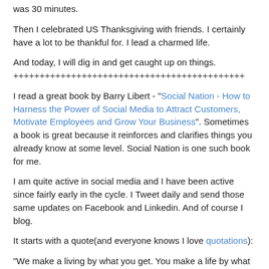was 30 minutes.
Then I celebrated US Thanksgiving with friends. I certainly have a lot to be thankful for. I lead a charmed life.
And today, I will dig in and get caught up on things.
++++++++++++++++++++++++++++++++++++++++++++
I read a great book by Barry Libert - "Social Nation - How to Harness the Power of Social Media to Attract Customers, Motivate Employees and Grow Your Business". Sometimes a book is great because it reinforces and clarifies things you already know at some level. Social Nation is one such book for me.
I am quite active in social media and I have been active since fairly early in the cycle. I Tweet daily and send those same updates on Facebook and Linkedin. And of course I blog.
It starts with a quote(and everyone knows I love quotations):
"We make a living by what you get. You make a life by what